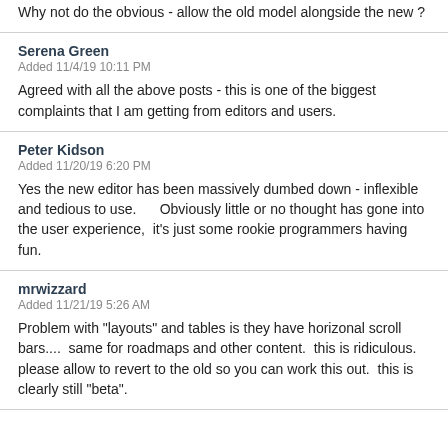Why not do the obvious - allow the old model alongside the new ?
Serena Green
Added 11/4/19 10:11 PM
Agreed with all the above posts - this is one of the biggest complaints that I am getting from editors and users.
Peter Kidson
Added 11/20/19 6:20 PM
Yes the new editor has been massively dumbed down - inflexible and tedious to use.      Obviously little or no thought has gone into the user experience,  it's just some rookie programmers having fun.
mrwizzard
Added 11/21/19 5:26 AM
Problem with "layouts" and tables is they have horizonal scroll bars....  same for roadmaps and other content.  this is ridiculous.  please allow to revert to the old so you can work this out.  this is clearly still "beta".